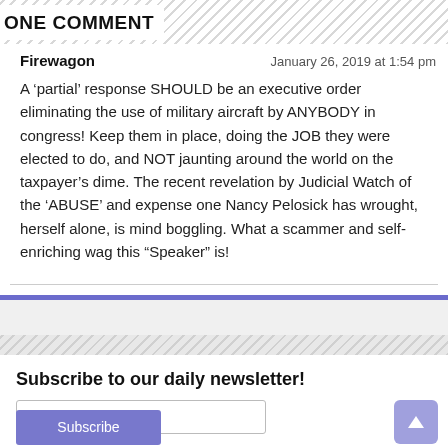ONE COMMENT
Firewagon
January 26, 2019 at 1:54 pm
A ‘partial’ response SHOULD be an executive order eliminating the use of military aircraft by ANYBODY in congress! Keep them in place, doing the JOB they were elected to do, and NOT jaunting around the world on the taxpayer’s dime. The recent revelation by Judicial Watch of the ‘ABUSE’ and expense one Nancy Pelosick has wrought, herself alone, is mind boggling. What a scammer and self-enriching wag this “Speaker” is!
Subscribe to our daily newsletter!
email address
Subscribe